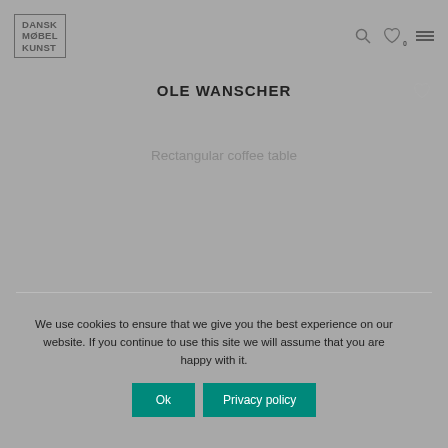DANSK MØBEL KUNST
OLE WANSCHER
Rectangular coffee table
We use cookies to ensure that we give you the best experience on our website. If you continue to use this site we will assume that you are happy with it.
Ok
Privacy policy